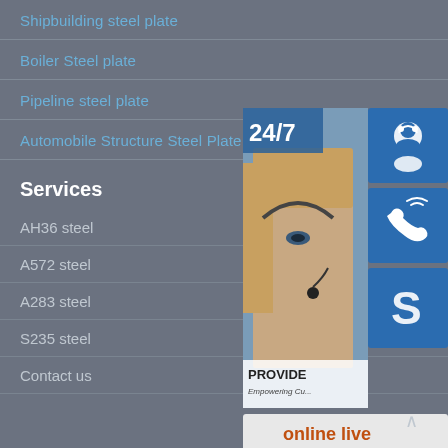Shipbuilding steel plate
Boiler Steel plate
Pipeline steel plate
Automobile Structure Steel Plate
Services
AH36 steel
A572 steel
A283 steel
S235 steel
Contact us
[Figure (infographic): Customer service widget with 24/7 label, photo of woman with headset, three blue icon buttons (headset, phone, Skype), and orange 'online live' button. Text: PROVIDE, Empowering Cu...]